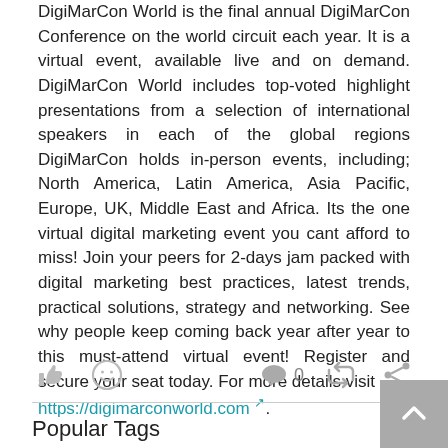DigiMarCon World is the final annual DigiMarCon Conference on the world circuit each year. It is a virtual event, available live and on demand. DigiMarCon World includes top-voted highlight presentations from a selection of international speakers in each of the global regions DigiMarCon holds in-person events, including; North America, Latin America, Asia Pacific, Europe, UK, Middle East and Africa. Its the one virtual digital marketing event you cant afford to miss! Join your peers for 2-days jam packed with digital marketing best practices, latest trends, practical solutions, strategy and networking. See why people keep coming back year after year to this must-attend virtual event! Register and secure your seat today. For more details visit https://digimarconworld.com.
Popular Tags